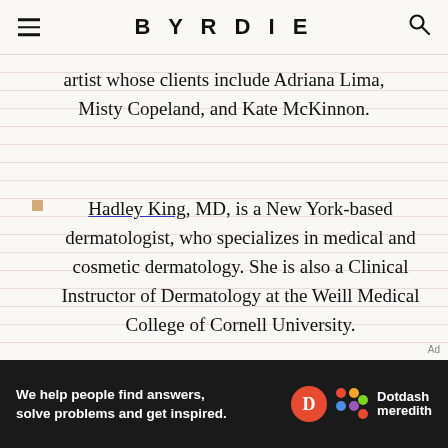BYRDIE
artist whose clients include Adriana Lima, Misty Copeland, and Kate McKinnon.
Hadley King, MD, is a New York-based dermatologist, who specializes in medical and cosmetic dermatology. She is also a Clinical Instructor of Dermatology at the Weill Medical College of Cornell University.
[Figure (other): Dotdash Meredith advertisement banner: 'We help people find answers, solve problems and get inspired.' with Dotdash Meredith logo.]